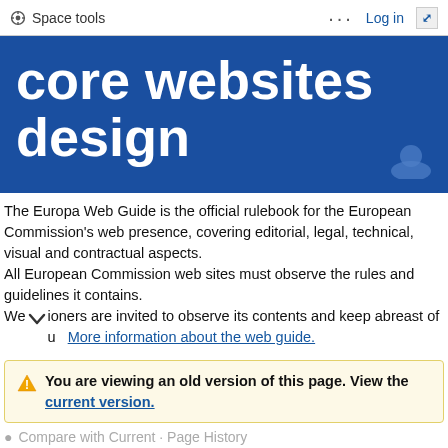Space tools  ...  Log in  ⤢
core websites design
The Europa Web Guide is the official rulebook for the European Commission's web presence, covering editorial, legal, technical, visual and contractual aspects.
All European Commission web sites must observe the rules and guidelines it contains.
We [b]itioners are invited to observe its contents and keep abreast of u  More information about the web guide.
You are viewing an old version of this page. View the current version.